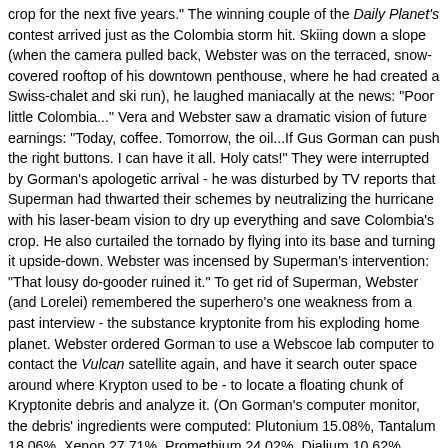crop for the next five years." The winning couple of the Daily Planet's contest arrived just as the Colombia storm hit. Skiing down a slope (when the camera pulled back, Webster was on the terraced, snow-covered rooftop of his downtown penthouse, where he had created a Swiss-chalet and ski run), he laughed maniacally at the news: "Poor little Colombia..." Vera and Webster saw a dramatic vision of future earnings: "Today, coffee. Tomorrow, the oil...If Gus Gorman can push the right buttons. I can have it all. Holy cats!" They were interrupted by Gorman's apologetic arrival - he was disturbed by TV reports that Superman had thwarted their schemes by neutralizing the hurricane with his laser-beam vision to dry up everything and save Colombia's crop. He also curtailed the tornado by flying into its base and turning it upside-down. Webster was incensed by Superman's intervention: "That lousy do-gooder ruined it." To get rid of Superman, Webster (and Lorelei) remembered the superhero's one weakness from a past interview - the substance kryptonite from his exploding home planet. Webster ordered Gorman to use a Webscoe lab computer to contact the Vulcan satellite again, and have it search outer space around where Krypton used to be - to locate a floating chunk of Kryptonite debris and analyze it. (On Gorman's computer monitor, the debris' ingredients were computed: Plutonium 15.08%, Tantalum 18.06%, Xenon 27.71%, Promethium 24.02%, Dialium 10.62%, Mercury 3.94%, and Unknown 0.57%.) Its composition was to be duplicated by "boys in the lab." When the computer couldn't identify the unknown element, Gorman substituted Tar (an ingredient in his Camel cigarettes). Soon after, the lab technicians, who used Gorman's formula, brought him a synthetic chunk of green kryptonite.